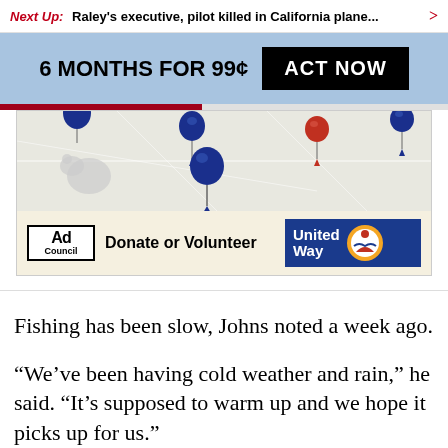Next Up: Raley's executive, pilot killed in California plane... >
[Figure (infographic): Subscription banner: 6 MONTHS FOR 99¢ ACT NOW button on blue background, followed by a United Way donate or volunteer advertisement with a map showing balloon location markers.]
Fishing has been slow, Johns noted a week ago.
“We’ve been having cold weather and rain,” he said. “It’s supposed to warm up and we hope it picks up for us.”